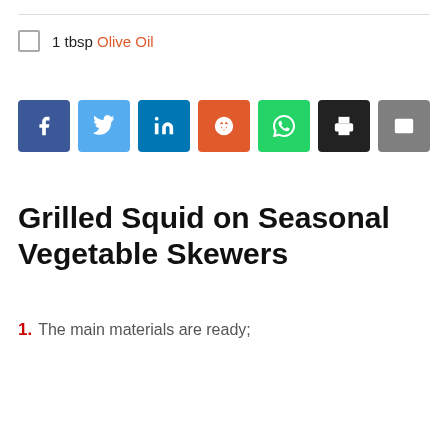1 tbsp Olive Oil
[Figure (infographic): Row of social sharing buttons: Facebook (blue), Twitter (light blue), LinkedIn (dark blue), Reddit (orange), WhatsApp (green), Print (black), Email (gray)]
Grilled Squid on Seasonal Vegetable Skewers
1. The main materials are ready;